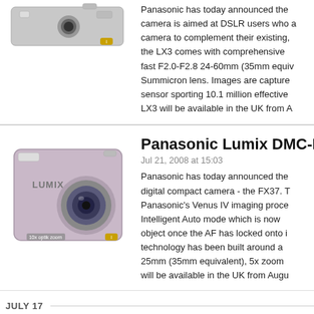[Figure (photo): Panasonic compact camera, silver/grey color, top portion visible]
Panasonic has today announced the camera is aimed at DSLR users who camera to complement their existing, the LX3 comes with comprehensive fast F2.0-F2.8 24-60mm (35mm equiv Summicron lens. Images are captured sensor sporting 10.1 million effective LX3 will be available in the UK from A
[Figure (photo): Panasonic Lumix compact camera, pink/silver, front view with lens]
Panasonic Lumix DMC-FX
Jul 21, 2008 at 15:03
Panasonic has today announced the digital compact camera - the FX37. T Panasonic's Venus IV imaging proce Intelligent Auto mode which is now object once the AF has locked onto i technology has been built around a 25mm (35mm equivalent), 5x zoom will be available in the UK from Augu
JULY 17
[Figure (photo): Small camera icon/badge, grey]
Just Posted: Sony DSL R